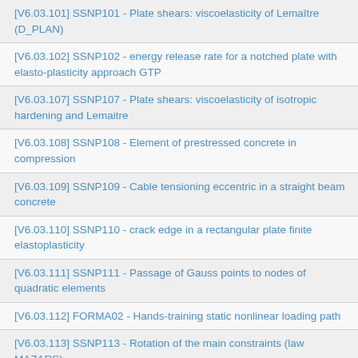[V6.03.101] SSNP101 - Plate shears: viscoelasticity of Lemaître (D_PLAN)
[V6.03.102] SSNP102 - energy release rate for a notched plate with elasto-plasticity approach GTP
[V6.03.107] SSNP107 - Plate shears: viscoelasticity of isotropic hardening and Lemaitre
[V6.03.108] SSNP108 - Element of prestressed concrete in compression
[V6.03.109] SSNP109 - Cable tensioning eccentric in a straight beam concrete
[V6.03.110] SSNP110 - crack edge in a rectangular plate finite elastoplasticity
[V6.03.111] SSNP111 - Passage of Gauss points to nodes of quadratic elements
[V6.03.112] FORMA02 - Hands-training static nonlinear loading path
[V6.03.113] SSNP113 - Rotation of the main constraints (law MAZARS)
[V6.03.114] FORMA03 - Hands-training static nonlinear load limits of a perforated plate